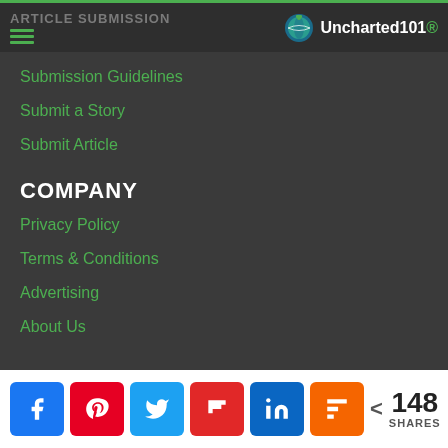ARTICLE SUBMISSION — Uncharted101
Submission Guidelines
Submit a Story
Submit Article
COMPANY
Privacy Policy
Terms & Conditions
Advertising
About Us
OTHER
148 SHARES — social share buttons: Facebook, Pinterest, Twitter, Flipboard, LinkedIn, Mix